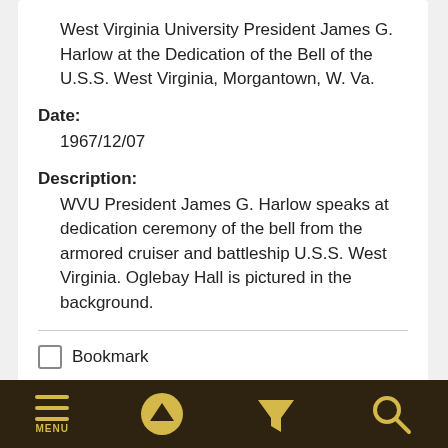West Virginia University President James G. Harlow at the Dedication of the Bell of the U.S.S. West Virginia, Morgantown, W. Va.
Date:
1967/12/07
Description:
WVU President James G. Harlow speaks at dedication ceremony of the bell from the armored cruiser and battleship U.S.S. West Virginia. Oglebay Hall is pictured in the background.
Bookmark
MENU  [up arrow]  [filter]  [search]